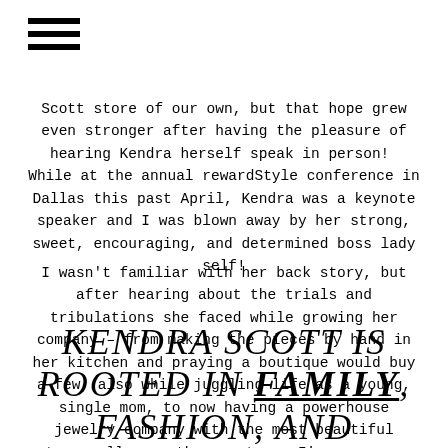[Figure (other): Hamburger menu icon — three horizontal black bars]
Scott store of our own, but that hope grew even stronger after having the pleasure of hearing Kendra herself speak in person!  While at the annual rewardStyle conference in Dallas this past April, Kendra was a keynote speaker and I was blown away by her strong, sweet, encouraging, and determined boss lady self!
I wasn't familiar with her back story, but after hearing about the trials and tribulations she faced while growing her company – from making the pieces by hand in her kitchen and praying a boutique would buy a few, also while juggling life as a young, single mom, to now having a powerhouse jewelry company with the most beautiful stores all over the country – I'm even more of a fan of her and her jewelry than I was before.
KENDRA SCOTT IS ROOTED IN FAMILY, FASHION, AND